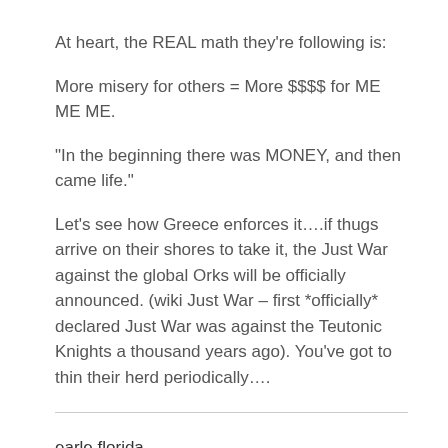At heart, the REAL math they’re following is:
More misery for others = More $$$$ for ME ME ME.
“In the beginning there was MONEY, and then came life.”
Let’s see how Greece enforces it….if thugs arrive on their shores to take it, the Just War against the global Orks will be officially announced. (wiki Just War – first *officially* declared Just War was against the Teutonic Knights a thousand years ago). You’ve got to thin their herd periodically….
earle,florida
July 2, 2011 at 10:27 am
again, What is this… “Washington”?
That’s for the Supreme Court to decide? Coming soon to a neighborhood near you, “The Supreme Court will take up the